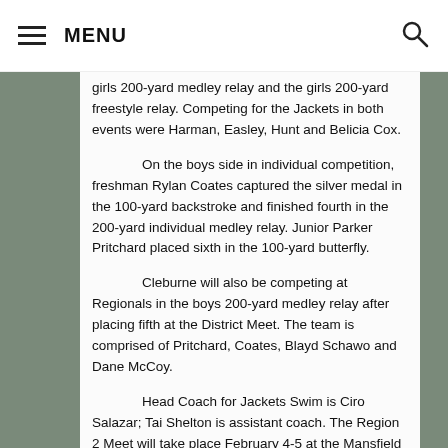MENU
girls 200-yard medley relay and the girls 200-yard freestyle relay. Competing for the Jackets in both events were Harman, Easley, Hunt and Belicia Cox.
On the boys side in individual competition, freshman Rylan Coates captured the silver medal in the 100-yard backstroke and finished fourth in the 200-yard individual medley relay. Junior Parker Pritchard placed sixth in the 100-yard butterfly.
Cleburne will also be competing at Regionals in the boys 200-yard medley relay after placing fifth at the District Meet. The team is comprised of Pritchard, Coates, Blayd Schawo and Dane McCoy.
Head Coach for Jackets Swim is Ciro Salazar; Tai Shelton is assistant coach. The Region 2 Meet will take place February 4-5 at the Mansfield ISD Natatorium.